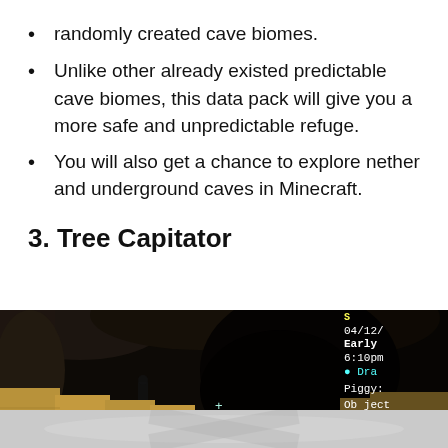randomly created cave biomes.
Unlike other already existed predictable cave biomes, this data pack will give you a more safe and unpredictable refuge.
You will also get a chance to explore nether and underground caves in Minecraft.
3. Tree Capitator
[Figure (screenshot): Minecraft gameplay screenshot showing a dark cave environment with sandy/wooden terrain blocks and a game HUD overlay showing date 04/12, Early 6:10pm, Dra..., Piggy:, Object, Run_N..., and a URL partially visible]
[Figure (screenshot): Bottom portion of a second Minecraft screenshot showing lighter grey tones with a watermark/logo overlay]